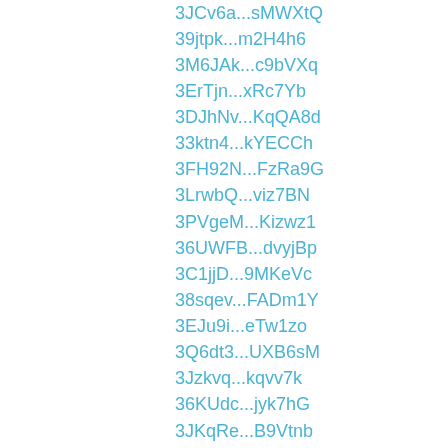3JCv6a...sMWXtQ
39jtpk...m2H4h6
3M6JAk...c9bVXq
3ErTjn...xRc7Yb
3DJhNv...KqQA8d
33ktn4...kYECCh
3FH92N...FzRa9G
3LrwbQ...viz7BN
3PVgeM...Kizwz1
36UWFB...dvyjBp
3C1jjD...9MKeVc
38sqev...FADm1Y
3EJu9i...eTw1zo
3Q6dt3...UXB6sM
3Jzkvq...kqvv7k
36KUdc...jyk7hG
3JKqRe...B9Vtnb
352tYL...JKfB4L
34oz8a...Evfjut
3Lrbmx...sbry2z
3JMYHa...tRRXoE
33DFZe...BwV3H7
3L6rgi...wosznc